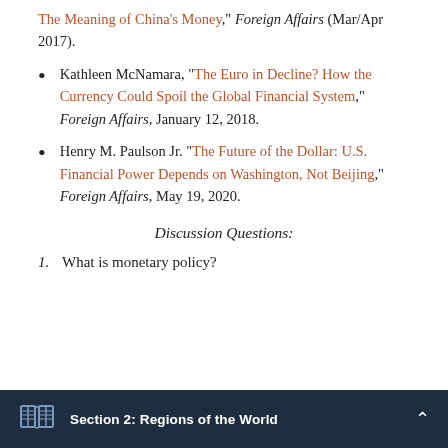The Meaning of China's Money," Foreign Affairs (Mar/Apr 2017).
Kathleen McNamara, "The Euro in Decline? How the Currency Could Spoil the Global Financial System," Foreign Affairs, January 12, 2018.
Henry M. Paulson Jr. "The Future of the Dollar: U.S. Financial Power Depends on Washington, Not Beijing," Foreign Affairs, May 19, 2020.
Discussion Questions:
1. What is monetary policy?
Section 2: Regions of the World